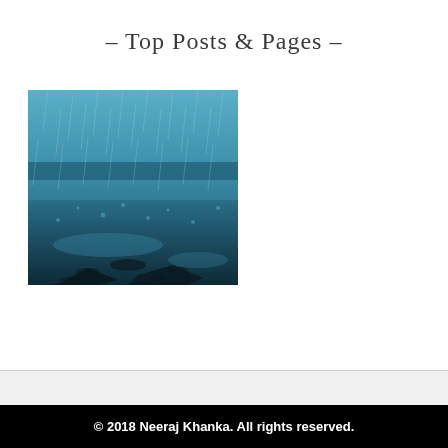– Top Posts & Pages –
[Figure (photo): A blue-toned rainy day photograph showing rain falling on a wet surface, with a blurred background and water droplets visible.]
© 2018 Neeraj Khanka. All rights reserved.